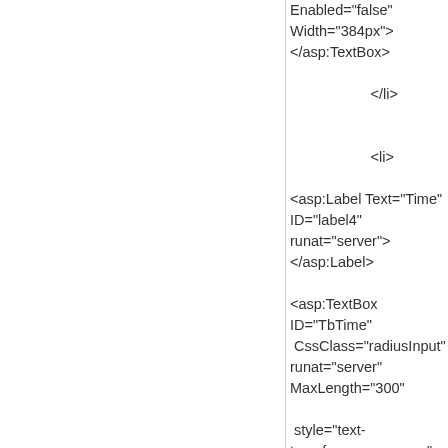Enabled="false" Width="384px">
</asp:TextBox>

                    </li>


                    <li>
                        <asp:Label Text="Time" ID="label4" runat="server"></asp:Label>
                        <asp:TextBox ID="TbTime"
 CssClass="radiusInput" runat="server" MaxLength="300"

 style="text-transform:uppercase;" Width="378px"></asp:TextBox>

<asp:RequiredFieldValidator ID="RequiredFieldValidator17" runat="server"
                ErrorMessage="Time não pode ficar em branco" ControlToValidate="tbTime">*
</asp:RequiredFieldValidator>